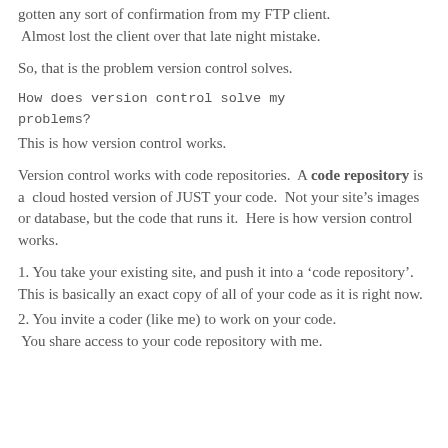gotten any sort of confirmation from my FTP client.  Almost lost the client over that late night mistake.
So, that is the problem version control solves.
This is how version control works.
Version control works with code repositories.  A code repository is a  cloud hosted version of JUST your code.  Not your site’s images or database, but the code that runs it.  Here is how version control works.
1. You take your existing site, and push it into a ‘code repository’.  This is basically an exact copy of all of your code as it is right now.
2. You invite a coder (like me) to work on your code.  You share access to your code repository with me.